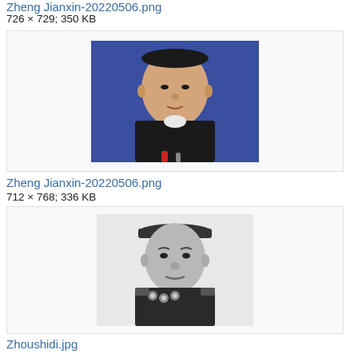Zheng Jianxin-20220506.png
712 × 768; 336 KB
[Figure (photo): Color photo of a middle-aged East Asian man in a dark suit, seated, with a blue background, looking slightly downward. Microphones visible at the bottom.]
Zhoushidi.jpg
[Figure (photo): Black and white photo of an older East Asian man in a military uniform with medals/decorations, wearing a military cap, looking slightly to the side.]
Zhoushidi.jpg